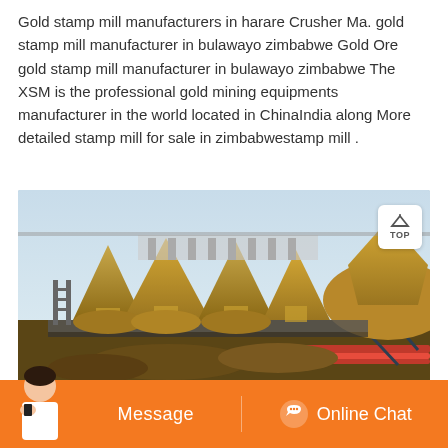Gold stamp mill manufacturers in harare Crusher Ma. gold stamp mill manufacturer in bulawayo zimbabwe Gold Ore gold stamp mill manufacturer in bulawayo zimbabwe The XSM is the professional gold mining equipments manufacturer in the world located in ChinaIndia along More detailed stamp mill for sale in zimbabwestamp mill .
[Figure (photo): Aerial or elevated view of industrial gold stamp mill machinery and equipment at a mining facility, showing large cone-shaped ore piles and metal structures]